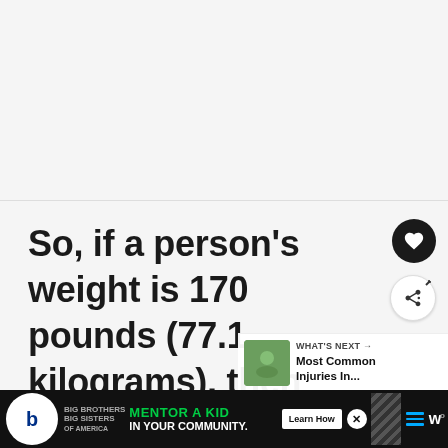[Figure (photo): Light gray blank/empty image area at the top of the page]
So, if a person's weight is 170 pounds (77.1 kilograms), then s/he wi...
[Figure (infographic): WHAT'S NEXT arrow with thumbnail image and text: Most Common Injuries In...]
[Figure (infographic): Advertisement bar: Big Brothers Big Sisters - MENTOR A KID IN YOUR COMMUNITY. Learn How button.]